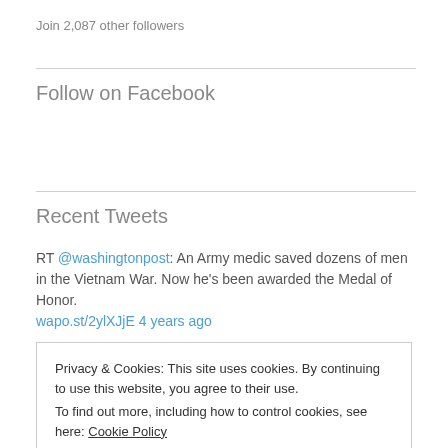Join 2,087 other followers
Follow on Facebook
Recent Tweets
RT @washingtonpost: An Army medic saved dozens of men in the Vietnam War. Now he's been awarded the Medal of Honor. wapo.st/2ylXJjE 4 years ago
Privacy & Cookies: This site uses cookies. By continuing to use this website, you agree to their use.
To find out more, including how to control cookies, see here: Cookie Policy